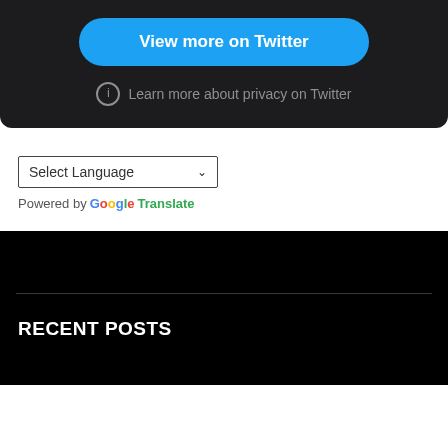[Figure (screenshot): Dark Twitter embed widget section with a blue 'View more on Twitter' button and privacy info link]
View more on Twitter
Learn more about privacy on Twitter
Select Language
Powered by Google Translate
RECENT POSTS